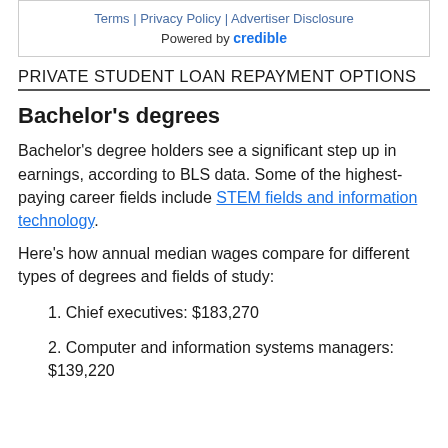Terms | Privacy Policy | Advertiser Disclosure
Powered by credible
PRIVATE STUDENT LOAN REPAYMENT OPTIONS
Bachelor's degrees
Bachelor's degree holders see a significant step up in earnings, according to BLS data. Some of the highest-paying career fields include STEM fields and information technology.
Here's how annual median wages compare for different types of degrees and fields of study:
1. Chief executives: $183,270
2. Computer and information systems managers: $139,220